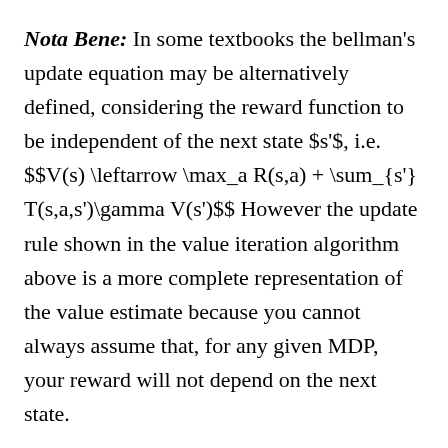Nota Bene: In some textbooks the bellman's update equation may be alternatively defined, considering the reward function to be independent of the next state $s'$, i.e. $$V(s) \leftarrow \max_a R(s,a) + \sum_{s'} T(s,a,s')\gamma V(s')$$ However the update rule shown in the value iteration algorithm above is a more complete representation of the value estimate because you cannot always assume that, for any given MDP, your reward will not depend on the next state.
Let us now define surrogate terms, the Q-value and the Q-function. Similar to the value function, the Q-function is a quality measure.